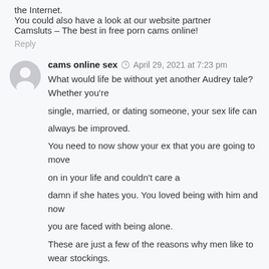the Internet.
You could also have a look at our website partner Camsluts – The best in free porn cams online!
Reply
cams online sex   April 29, 2021 at 7:23 pm
What would life be without yet another Audrey tale? Whether you're single, married, or dating someone, your sex life can always be improved.
You need to now show your ex that you are going to move on in your life and couldn't care a damn if she hates you. You loved being with him and now you are faced with being alone.
These are just a few of the reasons why men like to wear stockings.

No doubt there are as many reasons for men to wear stockings as there are for any form of lingerie. I have a Verona one piece garter and stocking that I wear when I have a dark